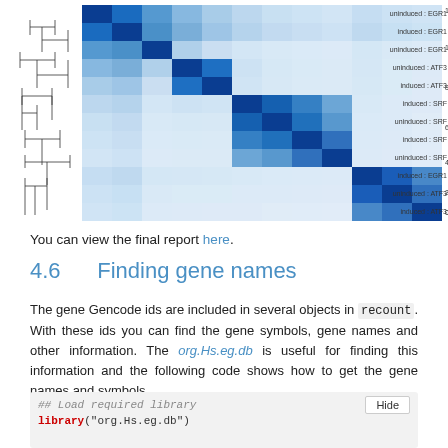[Figure (other): Heatmap with hierarchical clustering dendrogram on the left. The heatmap shows pairwise correlations between samples labeled: uninduced:EGR1, induced:EGR1, uninduced:EGR1, uninduced:ATF3, induced:ATF3, induced:SRF, uninduced:SRF, induced:SRF, uninduced:SRF, induced:EGR1, uninduced:ATF3, induced:ATF3. Color scale ranges from 0 (light blue/white) to 120 (dark navy blue). Diagonal cells are darkest.]
You can view the final report here.
4.6 Finding gene names
The gene Gencode ids are included in several objects in recount. With these ids you can find the gene symbols, gene names and other information. The org.Hs.eg.db is useful for finding this information and the following code shows how to get the gene names and symbols.
[Figure (screenshot): Code block with Hide button. Shows R code: ## Load required library (comment), library("org.Hs.eg.db")]